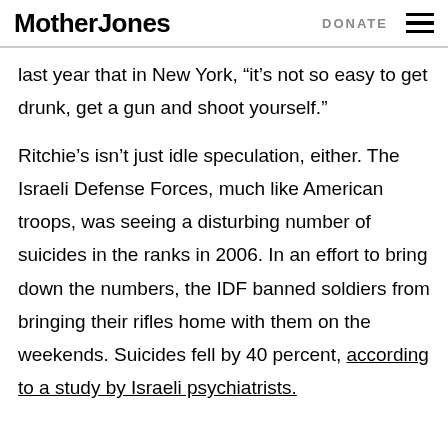Mother Jones | DONATE
last year that in New York, “it’s not so easy to get drunk, get a gun and shoot yourself.”
Ritchie’s isn’t just idle speculation, either. The Israeli Defense Forces, much like American troops, was seeing a disturbing number of suicides in the ranks in 2006. In an effort to bring down the numbers, the IDF banned soldiers from bringing their rifles home with them on the weekends. Suicides fell by 40 percent, according to a study by Israeli psychiatrists.